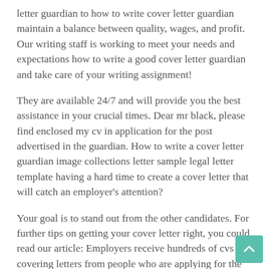letter guardian to how to write cover letter guardian maintain a balance between quality, wages, and profit. Our writing staff is working to meet your needs and expectations how to write a good cover letter guardian and take care of your writing assignment!
They are available 24/7 and will provide you the best assistance in your crucial times. Dear mr black, please find enclosed my cv in application for the post advertised in the guardian. How to write a cover letter guardian image collections letter sample legal letter template having a hard time to create a cover letter that will catch an employer’s attention?
Your goal is to stand out from the other candidates. For further tips on getting your cover letter right, you could read our article: Employers receive hundreds of cvs and covering letters from people who are applying for the job you want.